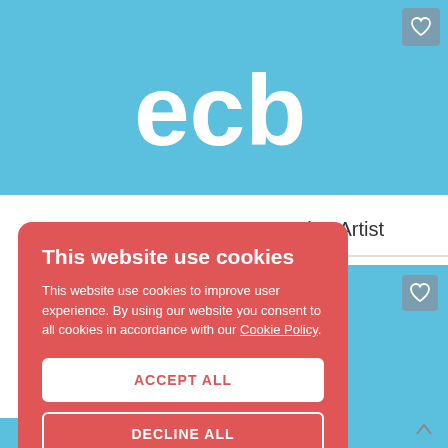[Figure (logo): ECB logo on light blue background banner]
onian Artist
[Figure (other): Light blue card with heart icon, partial view]
This website use cookies
This website use cookies to improve user experience. By using our website you consent to all cookies in accordance with our Cookie Policy.
ACCEPT ALL
DECLINE ALL